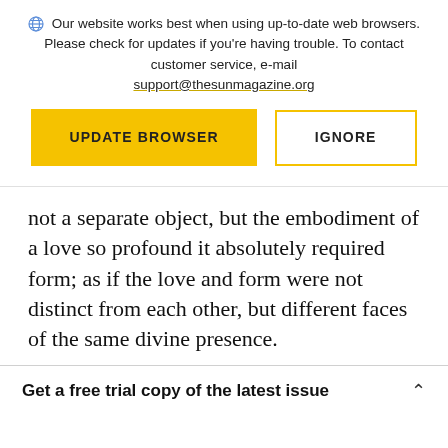Our website works best when using up-to-date web browsers. Please check for updates if you're having trouble. To contact customer service, e-mail support@thesunmagazine.org
[Figure (screenshot): Two buttons: a yellow 'UPDATE BROWSER' button and an outlined 'IGNORE' button]
not a separate object, but the embodiment of a love so profound it absolutely required form; as if the love and form were not distinct from each other, but different faces of the same divine presence.
Get a free trial copy of the latest issue